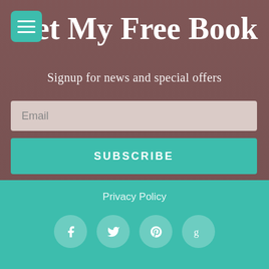Get My Free Book
Signup for news and special offers
Email
SUBSCRIBE
Privacy Policy
[Figure (infographic): Social media icons: Facebook, Twitter, Pinterest, Goodreads]